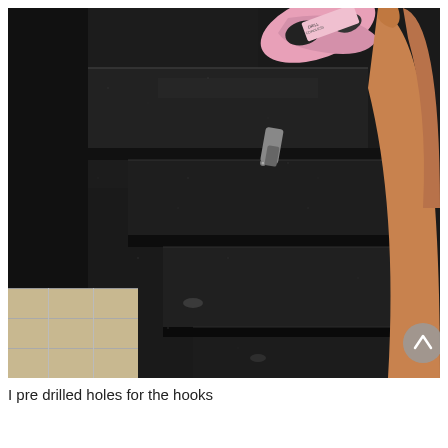[Figure (photo): A person's hand holding a pink cordless drill, drilling into a dark black granite or stone staircase/surface. The drill bit is visible making contact with the stone. Beige floor tiles are visible at the bottom left corner.]
I pre drilled holes for the hooks